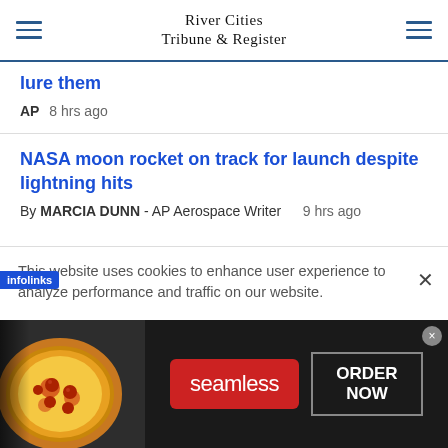River Cities Tribune & Register
lure them
AP  8 hrs ago
NASA moon rocket on track for launch despite lightning hits
By MARCIA DUNN - AP Aerospace Writer  9 hrs ago
This website uses cookies to enhance user experience to analyze performance and traffic on our website.
[Figure (screenshot): Seamless food delivery advertisement banner with pizza image, Seamless logo in red, and ORDER NOW button]